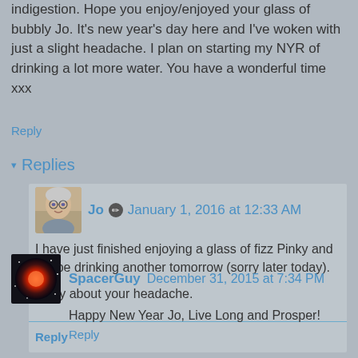indigestion. Hope you enjoy/enjoyed your glass of bubbly Jo. It's new year's day here and I've woken with just a slight headache. I plan on starting my NYR of drinking a lot more water. You have a wonderful time xxx
Reply
▾ Replies
Jo ✏ January 1, 2016 at 12:33 AM
I have just finished enjoying a glass of fizz Pinky and will be drinking another tomorrow (sorry later today).

Sorry about your headache.
Reply
SpacerGuy  December 31, 2015 at 7:34 PM
Happy New Year Jo, Live Long and Prosper!
Reply